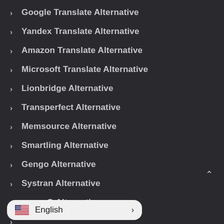Google Translate Alternative
Yandex Translate Alternative
Amazon Translate Alternative
Microsoft Translate Alternative
Lionbridge Alternative
Transperfect Alternative
Memsource Alternative
Smartling Alternative
Gengo Alternative
Systran Alternative
memoQ Alternative
English